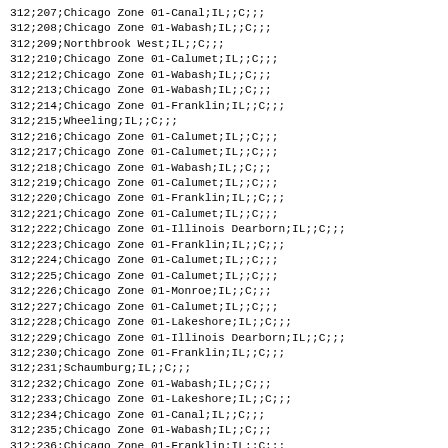312;207;Chicago Zone 01-Canal;IL;;C;;;
312;208;Chicago Zone 01-Wabash;IL;;C;;;
312;209;Northbrook West;IL;;C;;;
312;210;Chicago Zone 01-Calumet;IL;;C;;;
312;212;Chicago Zone 01-Wabash;IL;;C;;;
312;213;Chicago Zone 01-Wabash;IL;;C;;;
312;214;Chicago Zone 01-Franklin;IL;;C;;;
312;215;Wheeling;IL;;C;;;
312;216;Chicago Zone 01-Calumet;IL;;C;;;
312;217;Chicago Zone 01-Calumet;IL;;C;;;
312;218;Chicago Zone 01-Wabash;IL;;C;;;
312;219;Chicago Zone 01-Calumet;IL;;C;;;
312;220;Chicago Zone 01-Franklin;IL;;C;;;
312;221;Chicago Zone 01-Calumet;IL;;C;;;
312;222;Chicago Zone 01-Illinois Dearborn;IL;;C;;;
312;223;Chicago Zone 01-Franklin;IL;;C;;;
312;224;Chicago Zone 01-Calumet;IL;;C;;;
312;225;Chicago Zone 01-Calumet;IL;;C;;;
312;226;Chicago Zone 01-Monroe;IL;;C;;;
312;227;Chicago Zone 01-Calumet;IL;;C;;;
312;228;Chicago Zone 01-Lakeshore;IL;;C;;;
312;229;Chicago Zone 01-Illinois Dearborn;IL;;C;;;
312;230;Chicago Zone 01-Franklin;IL;;C;;;
312;231;Schaumburg;IL;;C;;;
312;232;Chicago Zone 01-Wabash;IL;;C;;;
312;233;Chicago Zone 01-Lakeshore;IL;;C;;;
312;234;Chicago Zone 01-Canal;IL;;C;;;
312;235;Chicago Zone 01-Wabash;IL;;C;;;
312;236;Chicago Zone 01-Franklin;IL;;C;;;
312;237;Chicago Zone 01-Wabash;IL;;C;;;
312;238;Chicago Zone 01-Calumet;IL;;C;;;